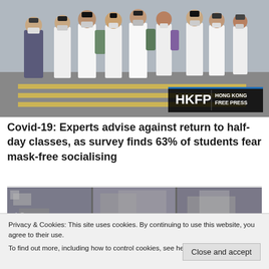[Figure (photo): Students in school uniforms wearing face masks walking outdoors, likely in Hong Kong. HKFP Hong Kong Free Press logo watermark in bottom right corner.]
Covid-19: Experts advise against return to half-day classes, as survey finds 63% of students fear mask-free socialising
[Figure (photo): Blurred/pixelated security camera footage stills showing multiple scenes]
Privacy & Cookies: This site uses cookies. By continuing to use this website, you agree to their use.
To find out more, including how to control cookies, see here: Cookie Policy
Close and accept